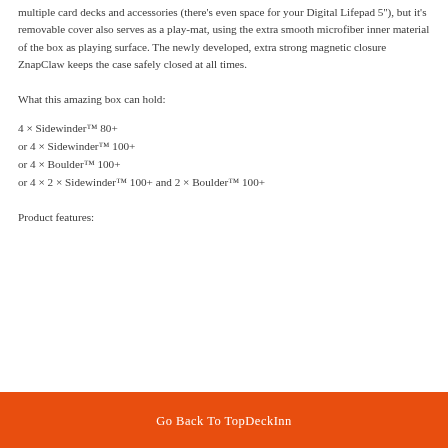multiple card decks and accessories (there's even space for your Digital Lifepad 5''), but it's removable cover also serves as a play-mat, using the extra smooth microfiber inner material of the box as playing surface. The newly developed, extra strong magnetic closure ZnapClaw keeps the case safely closed at all times.
What this amazing box can hold:
4 × Sidewinder™ 80+
or 4 × Sidewinder™ 100+
or 4 × Boulder™ 100+
or 4 × 2 × Sidewinder™ 100+ and 2 × Boulder™ 100+
Product features:
Go Back To TopDeckInn